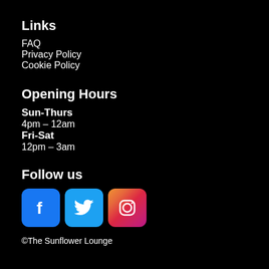Links
FAQ
Privacy Policy
Cookie Policy
Opening Hours
Sun-Thurs
4pm – 12am
Fri-Sat
12pm – 3am
Follow us
[Figure (logo): Facebook, Twitter, and Instagram social media icons]
©The Sunflower Lounge